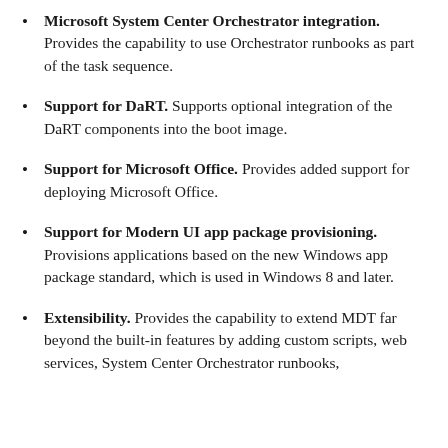Microsoft System Center Orchestrator integration. Provides the capability to use Orchestrator runbooks as part of the task sequence.
Support for DaRT. Supports optional integration of the DaRT components into the boot image.
Support for Microsoft Office. Provides added support for deploying Microsoft Office.
Support for Modern UI app package provisioning. Provisions applications based on the new Windows app package standard, which is used in Windows 8 and later.
Extensibility. Provides the capability to extend MDT far beyond the built-in features by adding custom scripts, web services, System Center Orchestrator runbooks,